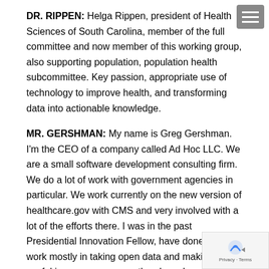DR. RIPPEN: Helga Rippen, president of Health Sciences of South Carolina, member of the full committee and now member of this working group, also supporting population, population health subcommittee. Key passion, appropriate use of technology to improve health, and transforming data into actionable knowledge.
MR. GERSHMAN: My name is Greg Gershman. I'm the CEO of a company called Ad Hoc LLC. We are a small software development consulting firm. We do a lot of work with government agencies in particular. We work currently on the new version of healthcare.gov with CMS and very involved with a lot of the efforts there. I was in the past Presidential Innovation Fellow, have done a lot of work mostly in taking open data and making it useful in some way or another. have been doing that for about five years, the past five in various different contexts in the public sector.